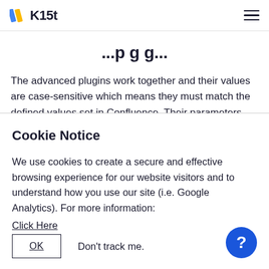K15t
...plugins...
The advanced plugins work together and their values are case-sensitive which means they must match the defined values set in Confluence. Their parameters are described below.
Cookie Notice
We use cookies to create a secure and effective browsing experience for our website visitors and to understand how you use our site (i.e. Google Analytics). For more information:
Click Here
OK   Don't track me.